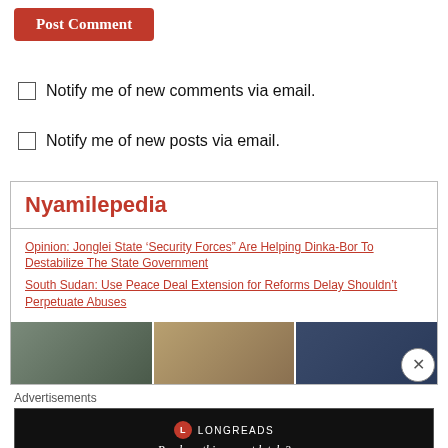Post Comment
Notify me of new comments via email.
Notify me of new posts via email.
Nyamilepedia
Opinion: Jonglei State ‘Security Forces” Are Helping Dinka-Bor To Destabilize The State Government
South Sudan: Use Peace Deal Extension for Reforms Delay Shouldn’t Perpetuate Abuses
[Figure (photo): Three photo segments showing people in indoor settings, possibly a conference or government building]
Advertisements
[Figure (logo): Longreads advertisement banner — Read anything great lately?]